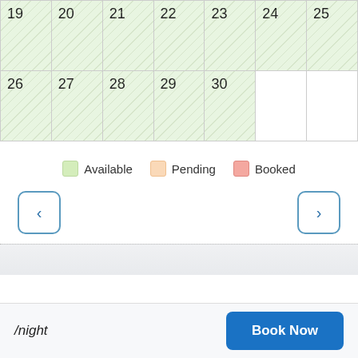[Figure (other): Calendar grid showing dates 19-30 with available (green) cells and diagonal line pattern overlay. Two rows: row 1 has 19,20,21,22,23,24,25; row 2 has 26,27,28,29,30 followed by two empty cells.]
Available   Pending   Booked
< (previous) and > (next) navigation buttons
/night
Book Now